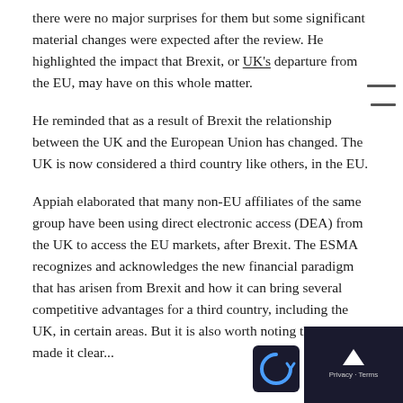there were no major surprises for them but some significant material changes were expected after the review. He highlighted the impact that Brexit, or UK's departure from the EU, may have on this whole matter.
He reminded that as a result of Brexit the relationship between the UK and the European Union has changed. The UK is now considered a third country like others, in the EU.
Appiah elaborated that many non-EU affiliates of the same group have been using direct electronic access (DEA) from the UK to access the EU markets, after Brexit. The ESMA recognizes and acknowledges the new financial paradigm that has arisen from Brexit and how it can bring several competitive advantages for a third country, including the UK, in certain areas. But it is also worth noting that ESMA made it clear...